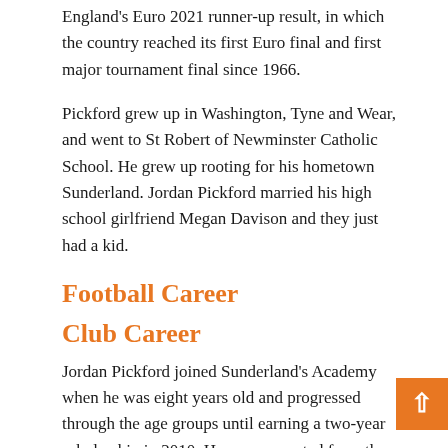England's Euro 2021 runner-up result, in which the country reached its first Euro final and first major tournament final since 1966.
Pickford grew up in Washington, Tyne and Wear, and went to St Robert of Newminster Catholic School. He grew up rooting for his hometown Sunderland. Jordan Pickford married his high school girlfriend Megan Davison and they just had a kid.
Football Career
Club Career
Jordan Pickford joined Sunderland's Academy when he was eight years old and progressed through the age groups until earning a two-year scholarship in 2010. He was promoted from the Academy to the reserve team the following year.
Pickford earned his first professional deal with the club in 2011. He secured a contract extension with the club the following year. Jordan Pickford joined Darlington on loan in time to make his